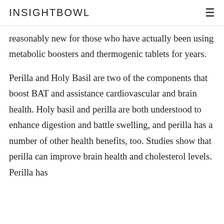INSIGHTBOWL
reasonably new for those who have actually been using metabolic boosters and thermogenic tablets for years.
Perilla and Holy Basil are two of the components that boost BAT and assistance cardiovascular and brain health. Holy basil and perilla are both understood to enhance digestion and battle swelling, and perilla has a number of other health benefits, too. Studies show that perilla can improve brain health and cholesterol levels. Perilla has